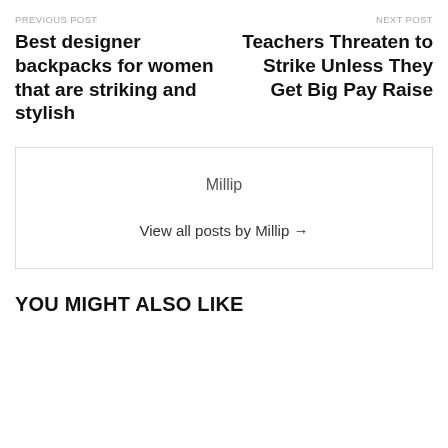PREVIOUS POST
Best designer backpacks for women that are striking and stylish
NEXT POST
Teachers Threaten to Strike Unless They Get Big Pay Raise
Millip
View all posts by Millip →
YOU MIGHT ALSO LIKE